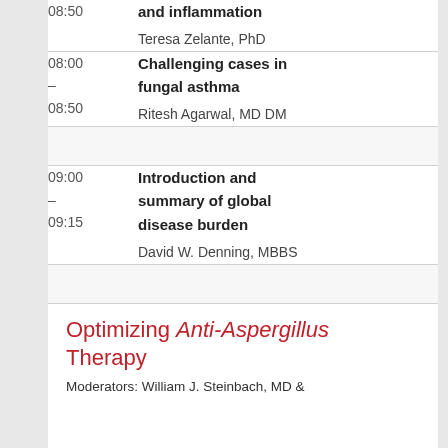| Time | Content |
| --- | --- |
| 08:50 | and inflammation
Teresa Zelante, PhD |
| 08:00 – 08:50 | Challenging cases in fungal asthma
Ritesh Agarwal, MD DM |
|  | (spacer) |
| 09:00 – 09:15 | Introduction and summary of global disease burden
David W. Denning, MBBS |
|  | (spacer) |
Optimizing Anti-Aspergillus Therapy
Moderators: William J. Steinbach, MD &